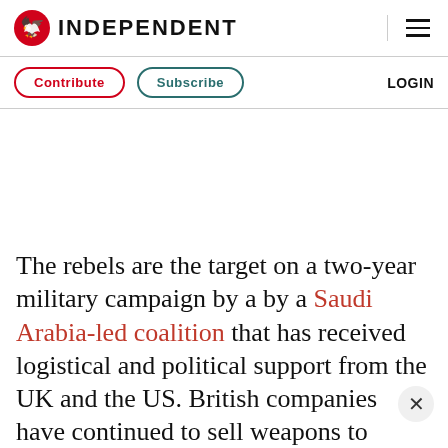INDEPENDENT
Contribute  Subscribe  LOGIN
The rebels are the target on a two-year military campaign by a by a Saudi Arabia-led coalition that has received logistical and political support from the UK and the US. British companies have continued to sell weapons to